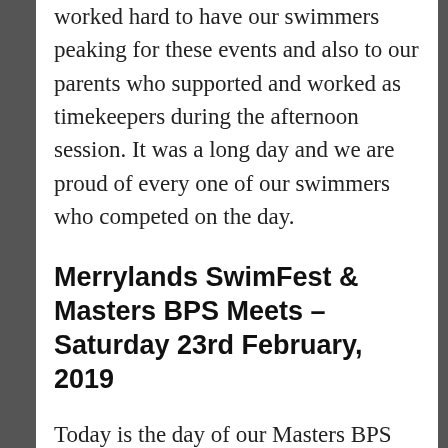worked hard to have our swimmers peaking for these events and also to our parents who supported and worked as timekeepers during the afternoon session. It was a long day and we are proud of every one of our swimmers who competed on the day.
Merrylands SwimFest & Masters BPS Meets – Saturday 23rd February, 2019
Today is the day of our Masters BPS and SwimFest meets. Thank you in advance to everyone who has volunteered their time today to help with the meets. It will be a long day and I know we will again show how well Merrylands ASC can host these events.